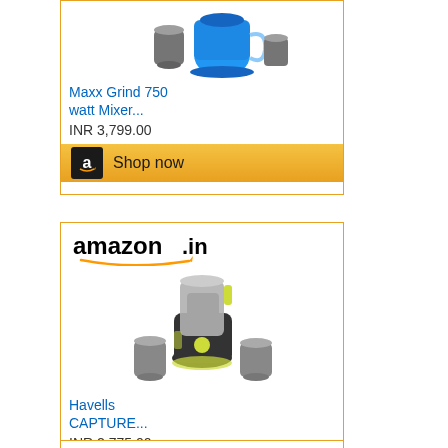[Figure (screenshot): Amazon.in product ad card for Maxx Grind 750 watt Mixer (partially visible at top), showing product image, title in blue, price INR 3,799.00, and a Shop now button with Amazon logo]
[Figure (screenshot): Amazon.in product ad card for Havells CAPTURE mixer grinder, showing amazon.in logo with smile, product image of dark mixer with yellow-green accents and stainless steel jars, title in blue, price INR 2,775.00, and a Shop now button]
[Figure (screenshot): Partial bottom edge of another Amazon.in product ad card, barely visible at bottom of page]